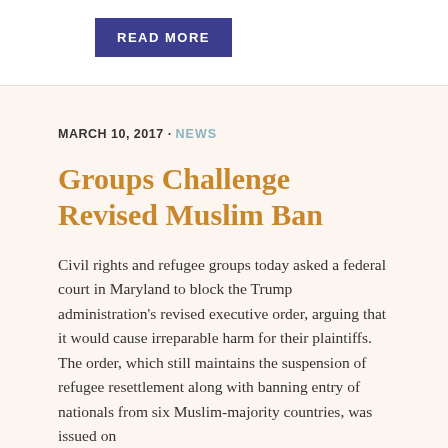READ MORE
MARCH 10, 2017 · NEWS
Groups Challenge Revised Muslim Ban
Civil rights and refugee groups today asked a federal court in Maryland to block the Trump administration's revised executive order, arguing that it would cause irreparable harm for their plaintiffs. The order, which still maintains the suspension of refugee resettlement along with banning entry of nationals from six Muslim-majority countries, was issued on